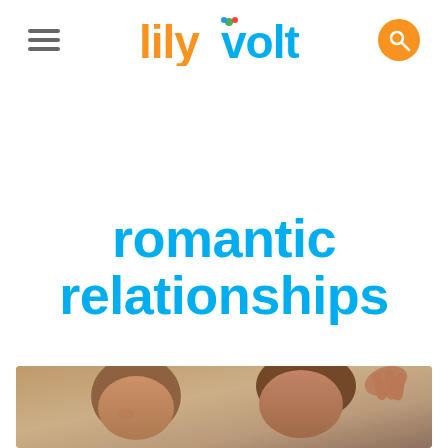lilyvolt — navigation header with hamburger menu and search icon
romantic relationships
[Figure (photo): Two people smiling and laughing together, appearing to be a couple in a romantic setting, photographed from close up]